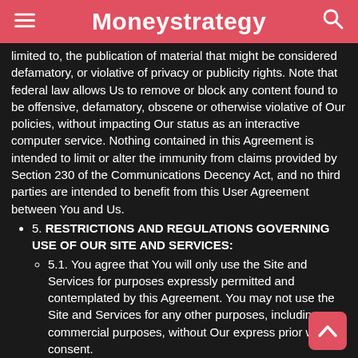Moneystrategy
limited to, the publication of material that might be considered defamatory, or violative of privacy or publicity rights. Note that federal law allows Us to remove or block any content found to be offensive, defamatory, obscene or otherwise violative of Our policies, without impacting Our status as an interactive computer service. Nothing contained in this Agreement is intended to limit or alter the immunity from claims provided by Section 230 of the Communications Decency Act, and no third parties are intended to benefit from this User Agreement between You and Us.
5. RESTRICTIONS AND REGULATIONS GOVERNING USE OF OUR SITE AND SERVICES:
5.1. You agree that You will only use the Site and Services for purposes expressly permitted and contemplated by this Agreement. You may not use the Site and Services for any other purposes, including commercial purposes, without Our express prior written consent.
5.2. Without Our express prior written authorization, You may not:
5.2.1. Interfere with or disrupt the Site, or